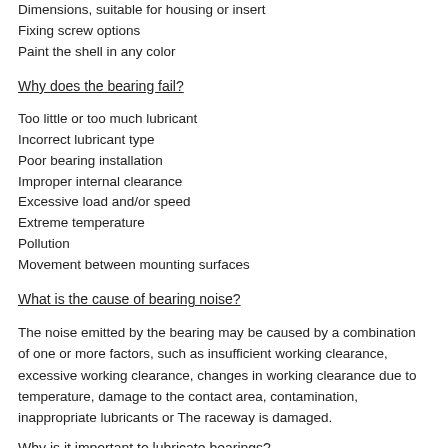Dimensions, suitable for housing or insert
Fixing screw options
Paint the shell in any color
Why does the bearing fail?
Too little or too much lubricant
Incorrect lubricant type
Poor bearing installation
Improper internal clearance
Excessive load and/or speed
Extreme temperature
Pollution
Movement between mounting surfaces
What is the cause of bearing noise?
The noise emitted by the bearing may be caused by a combination of one or more factors, such as insufficient working clearance, excessive working clearance, changes in working clearance due to temperature, damage to the contact area, contamination, inappropriate lubricants or The raceway is damaged.
Why is it important to lubricate bearings?